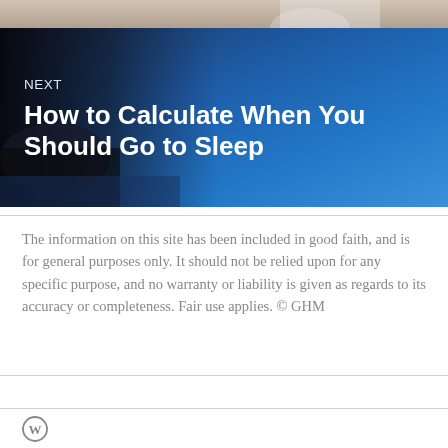[Figure (photo): Partial top strip of a photo showing a doctor in a white coat with stethoscope]
[Figure (photo): Blue-toned image of a person sleeping in bed, overlaid with dark blue gradient and text reading NEXT / How to Calculate When You Should Go to Sleep]
NEXT
How to Calculate When You Should Go to Sleep
The information on this site has been included in good faith, and is for general purposes only. It should not be relied upon for any specific purpose, and no warranty or liability is given as regards to its accuracy or completeness. Fair use applies. © GHM
[Figure (logo): WordPress logo icon (circle W)]